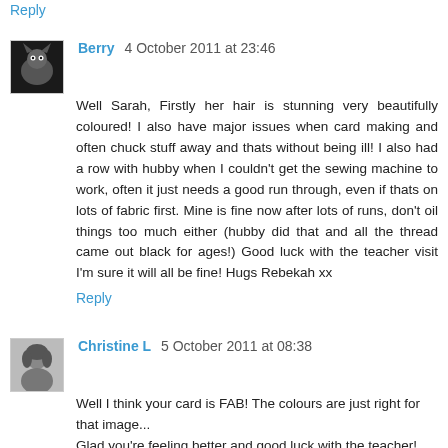Reply
Berry  4 October 2011 at 23:46
Well Sarah, Firstly her hair is stunning very beautifully coloured! I also have major issues when card making and often chuck stuff away and thats without being ill! I also had a row with hubby when I couldn't get the sewing machine to work, often it just needs a good run through, even if thats on lots of fabric first. Mine is fine now after lots of runs, don't oil things too much either (hubby did that and all the thread came out black for ages!) Good luck with the teacher visit I'm sure it will all be fine! Hugs Rebekah xx
Reply
Christine L  5 October 2011 at 08:38
Well I think your card is FAB! The colours are just right for that image...
Glad you're feeling better and good luck with the teacher!
Hugs
Christine x